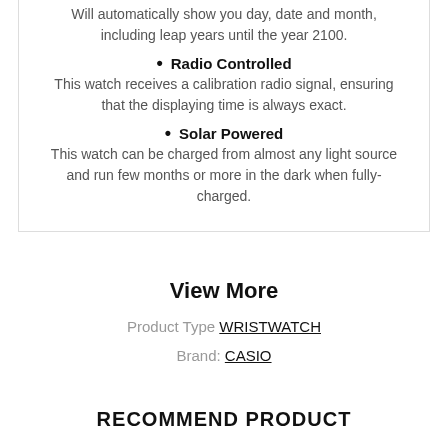Will automatically show you day, date and month, including leap years until the year 2100.
Radio Controlled
This watch receives a calibration radio signal, ensuring that the displaying time is always exact.
Solar Powered
This watch can be charged from almost any light source and run few months or more in the dark when fully-charged.
View More
Product Type WRISTWATCH
Brand: CASIO
RECOMMEND PRODUCT